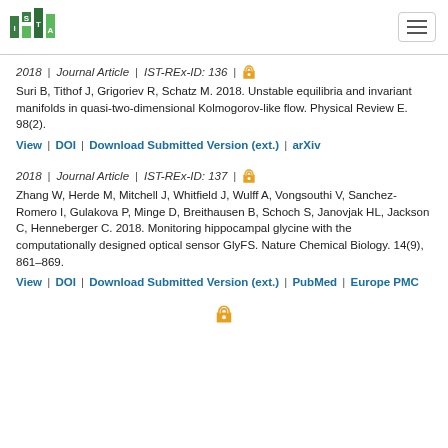ISTA logo and navigation
2018 | Journal Article | IST-REx-ID: 136 | [open access icon]
Suri B, Tithof J, Grigoriev R, Schatz M. 2018. Unstable equilibria and invariant manifolds in quasi-two-dimensional Kolmogorov-like flow. Physical Review E. 98(2).
View | DOI | Download Submitted Version (ext.) | arXiv
2018 | Journal Article | IST-REx-ID: 137 | [open access icon]
Zhang W, Herde M, Mitchell J, Whitfield J, Wulff A, Vongsouthi V, Sanchez-Romero I, Gulakova P, Minge D, Breithausen B, Schoch S, Janovjak HL, Jackson C, Henneberger C. 2018. Monitoring hippocampal glycine with the computationally designed optical sensor GlyFS. Nature Chemical Biology. 14(9), 861–869.
View | DOI | Download Submitted Version (ext.) | PubMed | Europe PMC